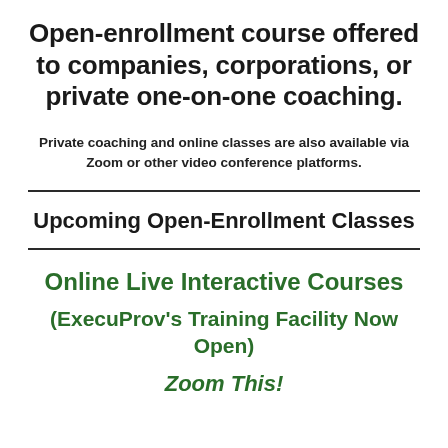Open-enrollment course offered to companies, corporations, or private one-on-one coaching.
Private coaching and online classes are also available via Zoom or other video conference platforms.
Upcoming Open-Enrollment Classes
Online Live Interactive Courses
(ExecuProv's Training Facility Now Open)
Zoom This!